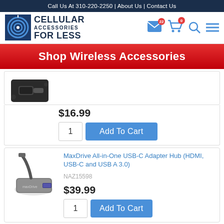Call Us At 310-220-2250 | About Us | Contact Us
[Figure (logo): Cellular Accessories For Less logo with circular antenna icon and bold text]
Shop Wireless Accessories
$16.99
[Figure (photo): USB-C connector product image (partial, top of card)]
Add To Cart, quantity 1
MaxDrive All-in-One USB-C Adapter Hub (HDMI, USB-C and USB A 3.0)
NAZ15598
$39.99
[Figure (photo): MaxDrive USB-C Adapter Hub product photo showing grey aluminum hub with USB-C cable]
Add To Cart, quantity 1